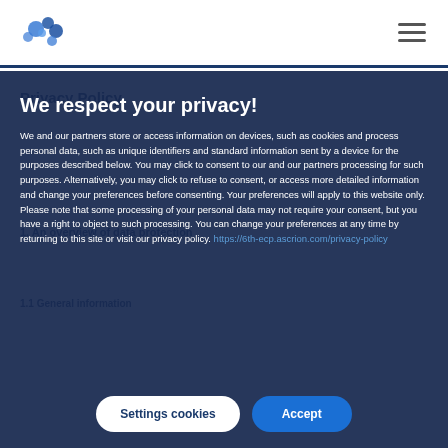[Logo: 6th ECP] [Hamburger menu icon]
We respect your privacy!
We and our partners store or access information on devices, such as cookies and process personal data, such as unique identifiers and standard information sent by a device for the purposes described below. You may click to consent to our and our partners processing for such purposes. Alternatively, you may click to refuse to consent, or access more detailed information and change your preferences before consenting. Your preferences will apply to this website only. Please note that some processing of your personal data may not require your consent, but you have a right to object to such processing. You can change your preferences at any time by returning to this site or visit our privacy policy. https://6th-ecp.ascrion.com/privacy-policy
Settings cookies
Accept